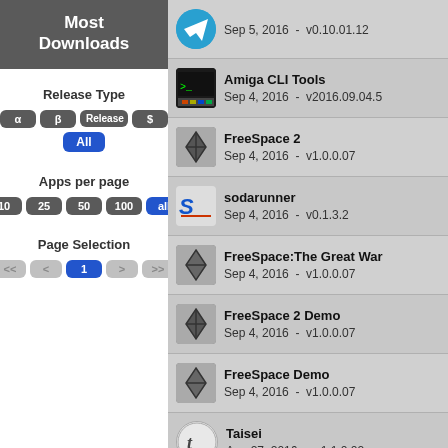Most Downloads
Release Type
α β Release $ All
Apps per page
10 25 50 100 all
Page Selection
<< < 1 > >>
Telegram - Sep 5, 2016 - v0.10.01.12
Amiga CLI Tools - Sep 4, 2016 - v2016.09.04.5
FreeSpace 2 - Sep 4, 2016 - v1.0.0.07
sodarunner - Sep 4, 2016 - v0.1.3.2
FreeSpace:The Great War - Sep 4, 2016 - v1.0.0.07
FreeSpace 2 Demo - Sep 4, 2016 - v1.0.0.07
FreeSpace Demo - Sep 4, 2016 - v1.0.0.07
Taisei - Aug 27, 2016 - v1.1.0.02
Dr. Fungi (scene demo) - Aug 27, 2016 - v1.0.0.2
The Battle for the Solar System